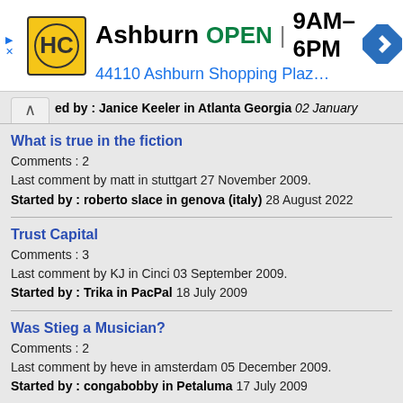[Figure (screenshot): Ad banner for Hobby Center in Ashburn showing logo, OPEN status, hours 9AM-6PM, address 44110 Ashburn Shopping Plaz..., and navigation icon]
ed by : Janice Keeler in Atlanta Georgia 02 January
What is true in the fiction
Comments : 2
Last comment by matt in stuttgart 27 November 2009.
Started by : roberto slace in genova (italy) 28 August 2022
Trust Capital
Comments : 3
Last comment by KJ in Cinci 03 September 2009.
Started by : Trika in PacPal 18 July 2009
Was Stieg a Musician?
Comments : 2
Last comment by heve in amsterdam 05 December 2009.
Started by : congabobby in Petaluma 17 July 2009
What are some of your favourite things about the books?
Comments : 10